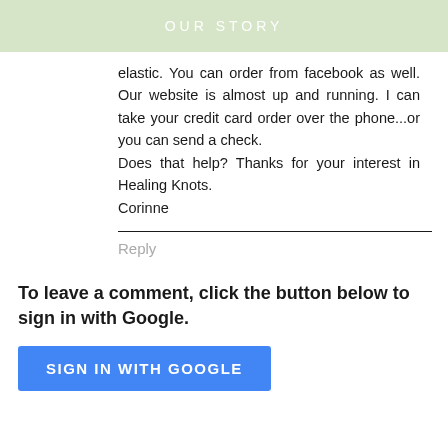OUR STORY
elastic. You can order from facebook as well. Our website is almost up and running. I can take your credit card order over the phone...or you can send a check.
Does that help? Thanks for your interest in Healing Knots.
Corinne
Reply
To leave a comment, click the button below to sign in with Google.
[Figure (other): Blue button labeled SIGN IN WITH GOOGLE]